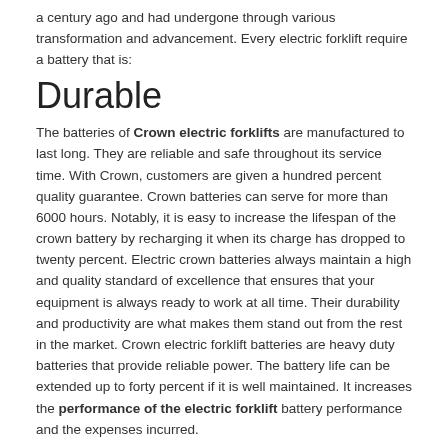a century ago and had undergone through various transformation and advancement. Every electric forklift require a battery that is:
Durable
The batteries of Crown electric forklifts are manufactured to last long. They are reliable and safe throughout its service time. With Crown, customers are given a hundred percent quality guarantee. Crown batteries can serve for more than 6000 hours. Notably, it is easy to increase the lifespan of the crown battery by recharging it when its charge has dropped to twenty percent. Electric crown batteries always maintain a high and quality standard of excellence that ensures that your equipment is always ready to work at all time. Their durability and productivity are what makes them stand out from the rest in the market. Crown electric forklift batteries are heavy duty batteries that provide reliable power. The battery life can be extended up to forty percent if it is well maintained. It increases the performance of the electric forklift battery performance and the expenses incurred.
Environmental Friendly
Crown batteries are the most recommended forklifts for use with electrical forklifts. The battery last for more than fifteen hundred cycles or shift. It approximates an average of five years when are optimally used for three hundred days in a year to provide safe